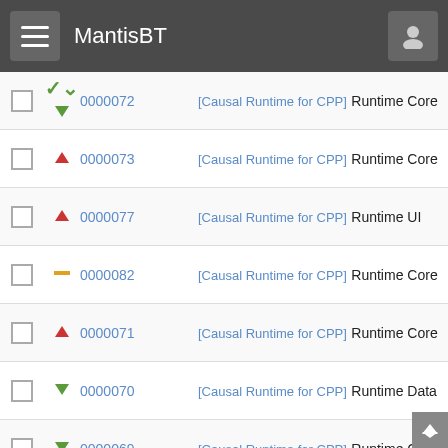MantisBT
|  | Priority | ID |  | Project / Category |
| --- | --- | --- | --- | --- |
|  | ↓ | 0000072 |  | [Causal Runtime for CPP] Runtime Core |
|  | ↑ | 0000073 |  | [Causal Runtime for CPP] Runtime Core |
|  | ↑ | 0000077 |  | [Causal Runtime for CPP] Runtime UI |
|  | — | 0000082 |  | [Causal Runtime for CPP] Runtime Core |
|  | ↑ | 0000071 |  | [Causal Runtime for CPP] Runtime Core |
|  | ↓ | 0000070 |  | [Causal Runtime for CPP] Runtime Data |
|  | ↓ | 0000069 |  | [Causal Runtime for CPP] Runtime Core |
|  | — | 0000067 |  | [Causal Runtime for CPP] Library Neuronal |
|  | — | 0000066 |  | [Causal Runtime for CPP] Library Neuronal |
|  | — | 0000022 |  | [Causal Runtime for CPP] Runtime Data |
|  | ↑ | 0000063 |  | [Causal Runtime for CPP] Runtime Data |
|  | — | 0000037 |  | [Causal Runtime for CPP] Library Optima |
|  | ↓ | 0000027 |  | [Causal Runtime for CPP] Runtime UI |